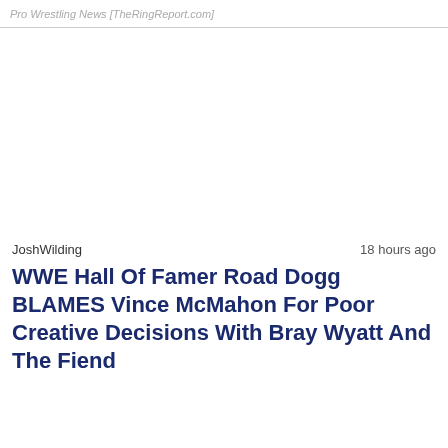Pro Wrestling News [TheRingReport.com]
[Figure (photo): Large blank/white image area representing an article image placeholder]
JoshWilding   18 hours ago
WWE Hall Of Famer Road Dogg BLAMES Vince McMahon For Poor Creative Decisions With Bray Wyatt And The Fiend